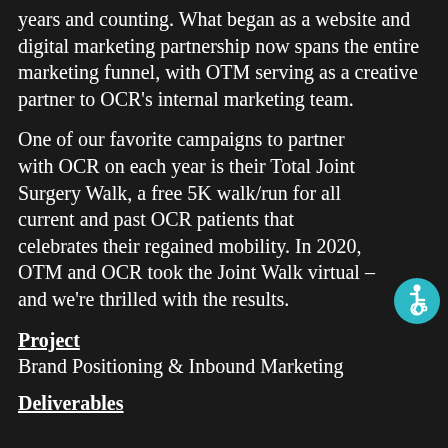years and counting. What began as a website and digital marketing partnership now spans the entire marketing funnel, with OTM serving as a creative partner to OCR's internal marketing team.
One of our favorite campaigns to partner with OCR on each year is their Total Joint Surgery Walk, a free 5K walk/run for all current and past OCR patients that celebrates their regained mobility. In 2020, OTM and OCR took the Joint Walk virtual – and we're thrilled with the results.
Project
Brand Positioning & Inbound Marketing
Deliverables